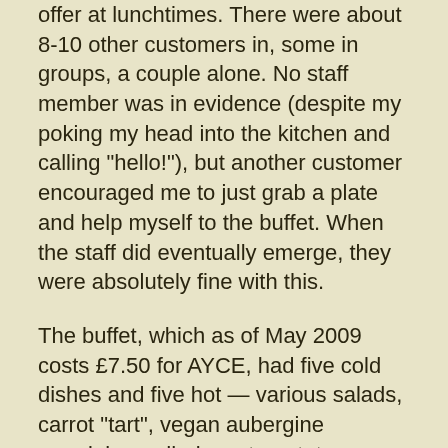offer at lunchtimes. There were about 8-10 other customers in, some in groups, a couple alone. No staff member was in evidence (despite my poking my head into the kitchen and calling "hello!"), but another customer encouraged me to just grab a plate and help myself to the buffet. When the staff did eventually emerge, they were absolutely fine with this.
The buffet, which as of May 2009 costs £7.50 for AYCE, had five cold dishes and five hot — various salads, carrot "tart", vegan aubergine parmigiana, dhal, saute potatoes, wholewheat pasta, and brown rice.
I tried the carrot tart, aubergine parmigiana, mixed bean and avocado salad, carrot salad, and saute potatoes [photo]. It was all good, well-flavoured and fresh-tasting, and not stodgy at all. The carrot salad was enlivened with fresh coriander, and the mung beans and blackeye beans in the mixed bean salad were cooked just al dente but